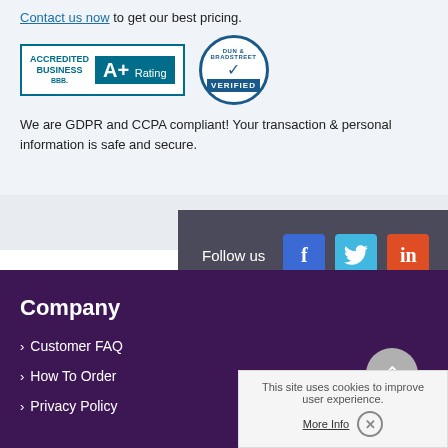Contact us now to get our best pricing.
[Figure (logo): BBB Accredited Business A+ Rating badge and Dun & Bradstreet Verified badge]
We are GDPR and CCPA compliant! Your transaction & personal information is safe and secure.
Follow us
[Figure (logo): Social media icons: Facebook, Twitter, LinkedIn]
Company
Customer FAQ
How To Order
Privacy Policy
This site uses cookies to improve user experience.
More Info